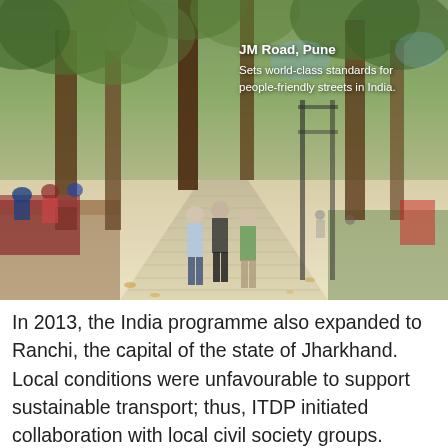[Figure (photo): Street-level photo of JM Road in Pune, India. Three men walk along a wide, paved pedestrian walkway lined with large trees. People sit on benches to the left. The street has good tree cover and appears well-maintained and people-friendly.]
JM Road, Pune
Sets world-class standards for people-friendly streets in India.
In 2013, the India programme also expanded to Ranchi, the capital of the state of Jharkhand. Local conditions were unfavourable to support sustainable transport; thus, ITDP initiated collaboration with local civil society groups.